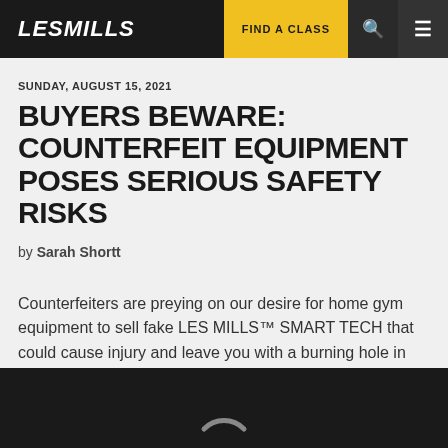LES MILLS | FIND A CLASS
SUNDAY, AUGUST 15, 2021
BUYERS BEWARE: COUNTERFEIT EQUIPMENT POSES SERIOUS SAFETY RISKS
by Sarah Shortt
Counterfeiters are preying on our desire for home gym equipment to sell fake LES MILLS™ SMART TECH that could cause injury and leave you with a burning hole in your wallet.